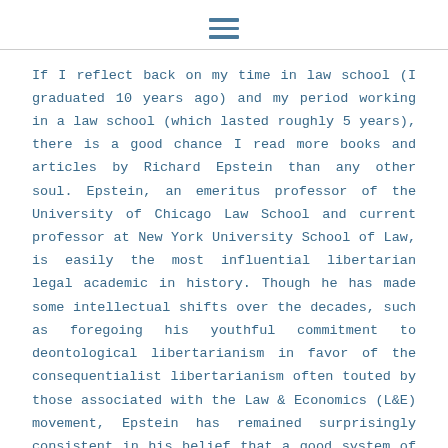[hamburger menu icon]
If I reflect back on my time in law school (I graduated 10 years ago) and my period working in a law school (which lasted roughly 5 years), there is a good chance I read more books and articles by Richard Epstein than any other soul. Epstein, an emeritus professor of the University of Chicago Law School and current professor at New York University School of Law, is easily the most influential libertarian legal academic in history. Though he has made some intellectual shifts over the decades, such as foregoing his youthful commitment to deontological libertarianism in favor of the consequentialist libertarianism often touted by those associated with the Law & Economics (L&E) movement, Epstein has remained surprisingly consistent in his belief that a good system of private law (torts, contracts, and